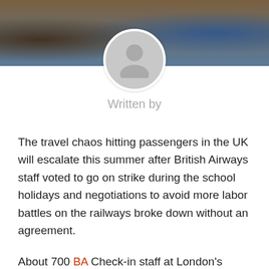[Figure (photo): Airport scene showing passengers with luggage, blurred background with blue and brown tones]
[Figure (illustration): Generic author avatar — grey circle with silhouette of a person]
Written by
The travel chaos hitting passengers in the UK will escalate this summer after British Airways staff voted to go on strike during the school holidays and negotiations to avoid more labor battles on the railways broke down without an agreement.
About 700 BA Check-in staff at London's Heathrow Airport have agreed to strike in a wage dispute, with unions promising “serious disruption”, time-shrinking along with the summer’s rush to fly abroad.
The results of the polls were announced when UK railways were hit by strikes for the second time in three days, with